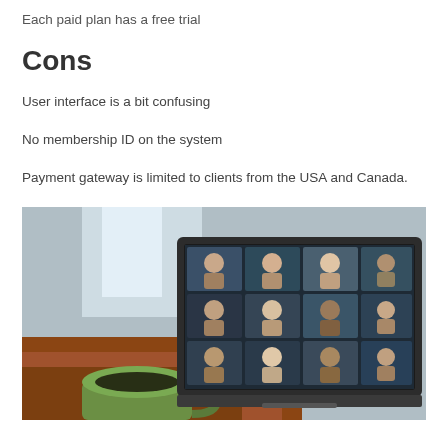Each paid plan has a free trial
Cons
User interface is a bit confusing
No membership ID on the system
Payment gateway is limited to clients from the USA and Canada.
[Figure (photo): A laptop on a wooden desk with a green mug in the foreground, the laptop screen showing a video conference call with a grid of participant thumbnails.]